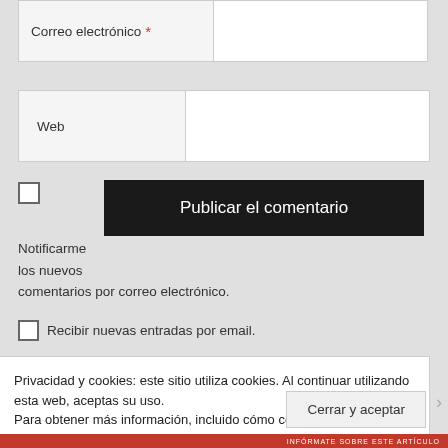Correo electrónico *
Web
Publicar el comentario
Notificarme los nuevos comentarios por correo electrónico.
Recibir nuevas entradas por email.
Privacidad y cookies: este sitio utiliza cookies. Al continuar utilizando esta web, aceptas su uso.
Para obtener más información, incluido cómo controlar las cookies, consulta aquí: Política de cookies
Cerrar y aceptar